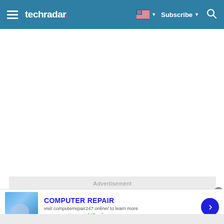techradar — Subscribe
[Figure (screenshot): White empty content area below header]
Advertisement
[Figure (infographic): Ad banner: COMPUTER REPAIR — visit computerrepair247.online/ to learn more — www.computerrepair247.online]